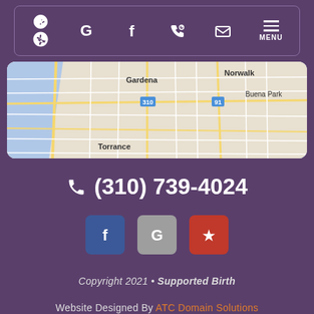[Figure (screenshot): Navigation bar with Yelp, Google, Facebook, phone, email, and menu icons on a purple background with rounded border]
[Figure (map): Google Maps screenshot showing Los Angeles area including Gardena, Torrance, Norwalk, and Buena Park]
(310) 739-4024
[Figure (screenshot): Row of three social media icon buttons: Facebook (blue), Google (grey), Yelp (red)]
Copyright 2021 • Supported Birth
Website Designed By ATC Domain Solutions